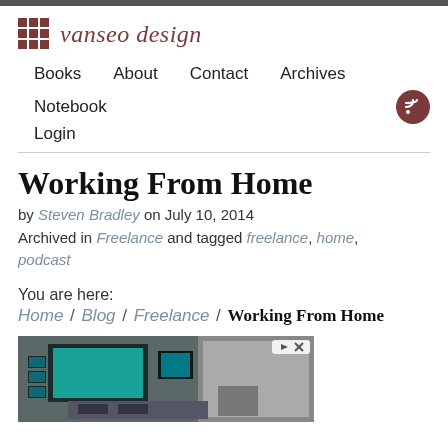vanseo design
Books  About  Contact  Archives  Notebook  Login
Working From Home
by Steven Bradley on July 10, 2014
Archived in Freelance and tagged freelance, home, podcast
You are here:
Home / Blog / Freelance / Working From Home
[Figure (photo): A high-tech home office or command center with multiple monitors, cyan-colored displays, and modern workstations]